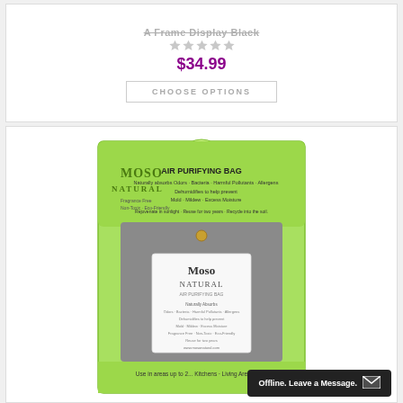A Frame Display Black
$34.99
CHOOSE OPTIONS
[Figure (photo): Moso Natural Air Purifying Bag product in green packaging, showing a grey charcoal bag with Moso Natural branding. Text on packaging reads: AIR PURIFYING BAG, Naturally absorbs Odors, Bacteria, Harmful Pollutants, Allergens, Dehumidifies to help prevent Mold, Mildew, Excess Moisture. Fragrance Free, Non-Toxic, Eco-Friendly. Rejuvenate in sunlight. Reuse for two years. Recycle into the soil. Use in areas up to 2... Kitchens, Living Areas, B...]
Offline. Leave a Message.